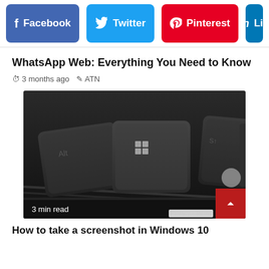[Figure (screenshot): Social media sharing buttons: Facebook (blue), Twitter (light blue), Pinterest (red), LinkedIn (blue, partially visible)]
WhatsApp Web: Everything You Need to Know
3 months ago   ATN
[Figure (photo): Close-up photo of a dark laptop keyboard focusing on the Windows key, with '3 min read' label overlaid at bottom left]
How to take a screenshot in Windows 10